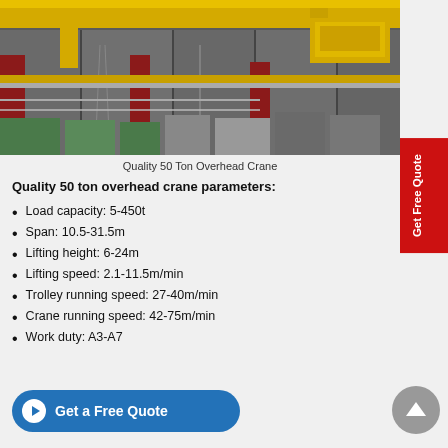[Figure (photo): Yellow overhead crane in an industrial facility, viewed from below, showing the crane bridge and trolley system with large industrial hall in background.]
Quality 50 Ton Overhead Crane
Quality 50 ton overhead crane parameters:
Load capacity: 5-450t
Span: 10.5-31.5m
Lifting height: 6-24m
Lifting speed: 2.1-11.5m/min
Trolley running speed: 27-40m/min
Crane running speed: 42-75m/min
Work duty: A3-A7